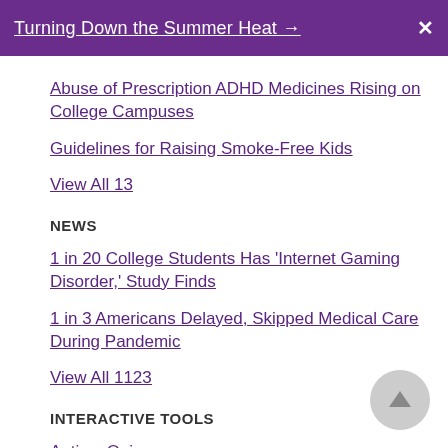Turning Down the Summer Heat →
Abuse of Prescription ADHD Medicines Rising on College Campuses
Guidelines for Raising Smoke-Free Kids
View All 13
NEWS
1 in 20 College Students Has 'Internet Gaming Disorder,' Study Finds
1 in 3 Americans Delayed, Skipped Medical Care During Pandemic
View All 1123
INTERACTIVE TOOLS
Autism Quiz
Child Development Quiz